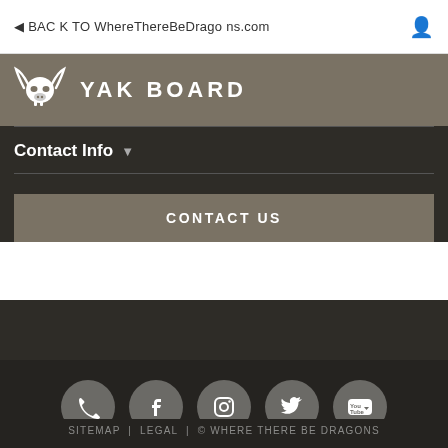BACK TO WhereThereBeDragons.com
YAK BOARD
Contact Info
CONTACT US
[Figure (infographic): Social media icons row: phone, Facebook, Instagram, Twitter, YouTube]
SITEMAP | LEGAL | © WHERE THERE BE DRAGONS